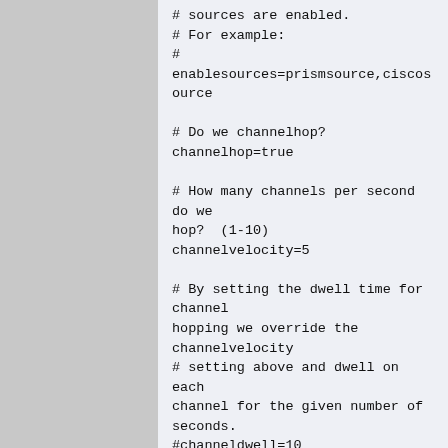# sources are enabled.
# For example:
# enablesources=prismsource,ciscosource

# Do we channelhop?
channelhop=true

# How many channels per second do we
hop?  (1-10)
channelvelocity=5

# By setting the dwell time for channel
hopping we override the channelvelocity
# setting above and dwell on each
channel for the given number of
seconds.
#channeldwell=10

# Do we split channels between cards on
the same spectrum?  This means if
# multiple 802.11b capture sources are
defined, they will be offset to cover
# the most possible spectrum at a given
time.  This also controls splitting
# fine-tuned sourcechannels lines which
cover multiple interfaces (see below)
channelsplit=true